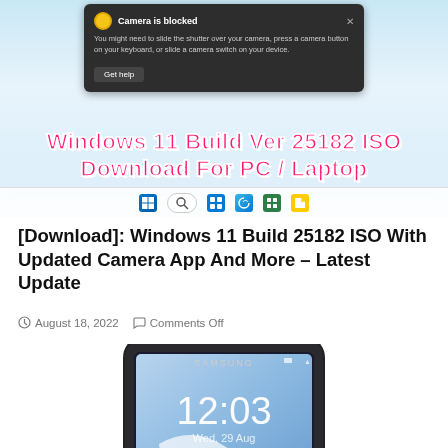[Figure (screenshot): Windows 11 screenshot showing camera blocked notification and taskbar, with overlay text 'Windows 11 Build Ver 25182 ISO Download For PC / Laptop']
[Download]: Windows 11 Build 25182 ISO With Updated Camera App And More – Latest Update
August 18, 2022   Comments Off
[Figure (photo): Samsung Galaxy Note II smartphone showing 12:03 time display with stylus pen]